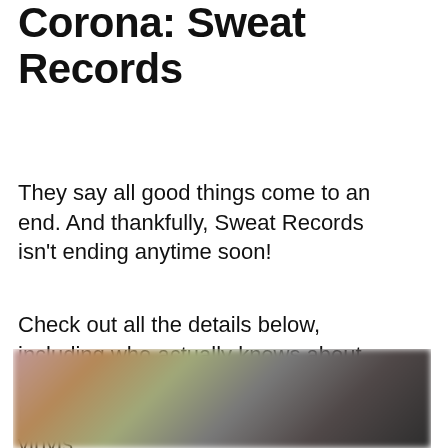Corona: Sweat Records
They say all good things come to an end. And thankfully, Sweat Records isn't ending anytime soon!
Check out all the details below, including who actually knows about Sweat Records and how owner Lolo Reskin decides how she buys her vinyls.
[Figure (photo): Blurred photograph, likely of people or a record store interior]